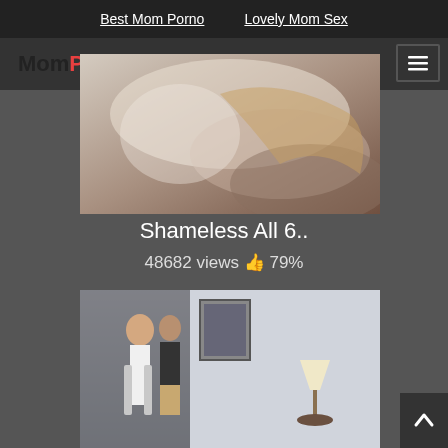Best Mom Porno   Lovely Mom Sex
[Figure (logo): MomPorno.Pro website logo]
[Figure (photo): Video thumbnail for Shameless All 6.. showing a blond woman scene]
Shameless All 6..
48682 views 👍 79%
[Figure (photo): Video thumbnail showing a woman on crutches and a man in a hallway with a lamp visible]